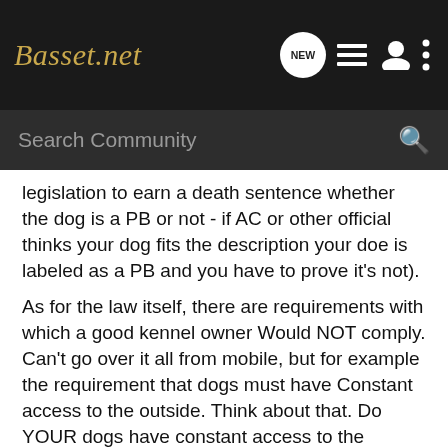Basset.net
Search Community
legislation to earn a death sentence whether the dog is a PB or not - if AC or other official thinks your dog fits the description your doe is labeled as a PB and you have to prove it's not).
As for the law itself, there are requirements with which a good kennel owner Would NOT comply. Can't go over it all from mobile, but for example the requirement that dogs must have Constant access to the outside. Think about that. Do YOUR dogs have constant access to the outdoors? Do most pets? Do they need it? There are lots of good reasons why a kennel owner would NOT allow free access to the outside. Most kennel owners will lock the dogs inside for the night, for security reasons and to keep the dogs from being a nuisance by barking at night. Many will lock the dogs inside while they are gone from the premises, again for security reasons. One breeder I know will lock the pen doors when a snow storm is expected - she